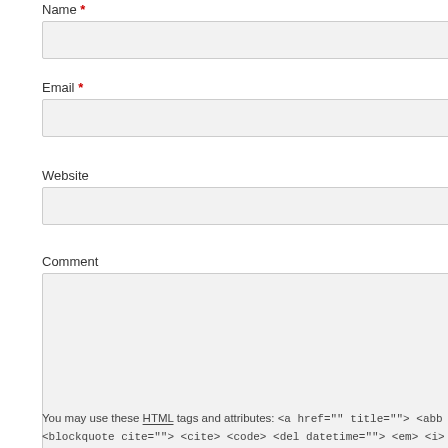Name *
Email *
Website
Comment
You may use these HTML tags and attributes: <a href="" title=""> <abb <blockquote cite=""> <cite> <code> <del datetime=""> <em> <i>